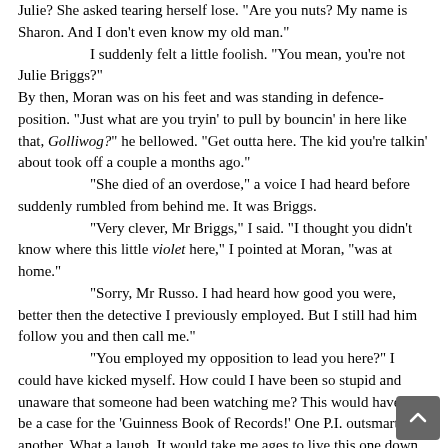Julie?  She asked tearing herself lose.  "Are you nuts?  My name is Sharon.  And I don't even know my old man."
	I suddenly felt a little foolish.  "You mean, you're not Julie Briggs?"
By then, Moran was on his feet and was standing in defence-position.  "Just what are you tryin' to pull by bouncin' in here like that, Golliwog?" he bellowed.  "Get outta here.  The kid you're talkin' about took off a couple a months ago."
	"She died of an overdose," a voice I had heard before suddenly rumbled from behind me.  It was Briggs.
	"Very clever, Mr Briggs," I said.  "I thought you didn't know where this little violet here," I pointed at Moran, "was at home."
	"Sorry, Mr Russo.  I had heard how good you were, better then the detective I previously employed.  But I still had him follow you and then call me."
	"You employed my opposition to lead you here?"  I could have kicked myself.  How could I have been so stupid and unaware that someone had been watching me?  This would have to be a case for the 'Guinness Book of Records!'  One P.I. outsmarting another.  What a laugh.  It would take me ages to live this one down.
	"This girl, here," a grim-faced Briggs gestured towards the now trembling female, "was Julie's nice, new friend who got her hooked on